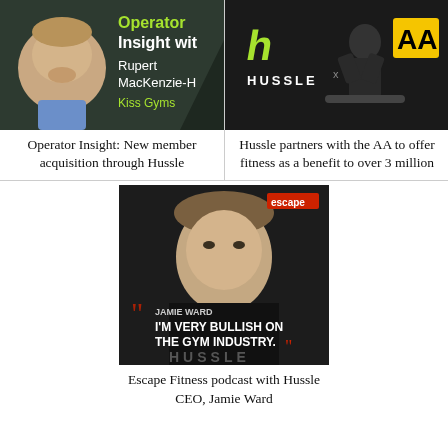[Figure (photo): Operator Insight thumbnail with Rupert MacKenzie-H from Kiss Gyms on dark background with green text]
Operator Insight: New member acquisition through Hussle
[Figure (photo): Hussle partners with the AA logo image on dark gym background]
Hussle partners with the AA to offer fitness as a benefit to over 3 million
[Figure (photo): Jamie Ward photo with text I'M VERY BULLISH ON THE GYM INDUSTRY. Hussle and escape fitness logos visible]
Escape Fitness podcast with Hussle CEO, Jamie Ward